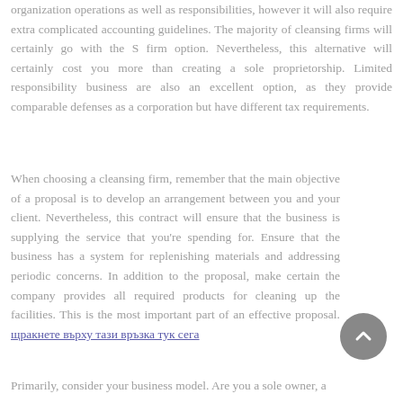organization operations as well as responsibilities, however it will also require extra complicated accounting guidelines. The majority of cleansing firms will certainly go with the S firm option. Nevertheless, this alternative will certainly cost you more than creating a sole proprietorship. Limited responsibility business are also an excellent option, as they provide comparable defenses as a corporation but have different tax requirements.
When choosing a cleansing firm, remember that the main objective of a proposal is to develop an arrangement between you and your client. Nevertheless, this contract will ensure that the business is supplying the service that you're spending for. Ensure that the business has a system for replenishing materials and addressing periodic concerns. In addition to the proposal, make certain the company provides all required products for cleaning up the facilities. This is the most important part of an effective proposal. щракнете върху тази връзка тук сега
Primarily, consider your business model. Are you a sole owner, a